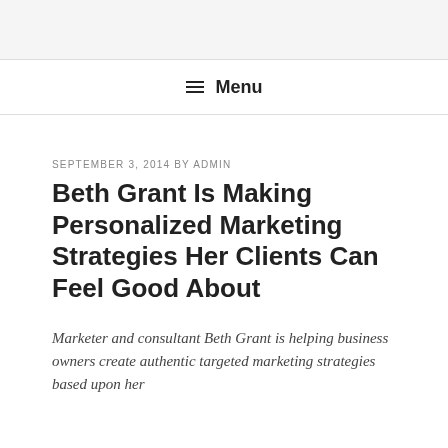≡ Menu
SEPTEMBER 3, 2014 BY ADMIN
Beth Grant Is Making Personalized Marketing Strategies Her Clients Can Feel Good About
Marketer and consultant Beth Grant is helping business owners create authentic targeted marketing strategies based upon her